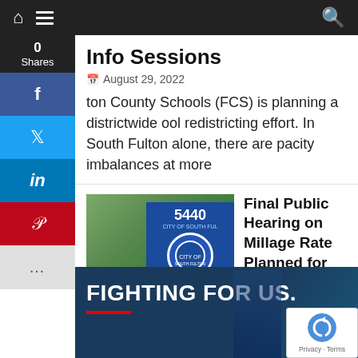Navigation bar with home, menu, and search icons
Info Sessions
August 29, 2022
ton County Schools (FCS) is planning a districtwide ool redistricting effort. In South Fulton alone, there are pacity imbalances at more
[Figure (photo): City of South Fulton City Hall sign with blue shield logo and address 5440]
Final Public Hearing on Millage Rate Planned for Aug. 31
August 29, 2022
[Figure (photo): Advertisement banner with text FIGHTING FOR US. with a red underline and partial image of a person]